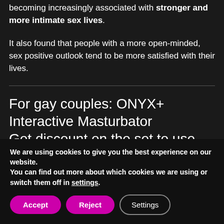becoming increasingly associated with stronger and more intimate sex lives.
It also found that people with a more open-minded, sex positive outlook tend to be more satisfied with their lives.
For gay couples: ONYX+ Interactive Masturbator
Get discount on the set to use with your male partner:
We are using cookies to give you the best experience on our website.
You can find out more about which cookies we are using or switch them off in settings.
Accept | Reject | Settings